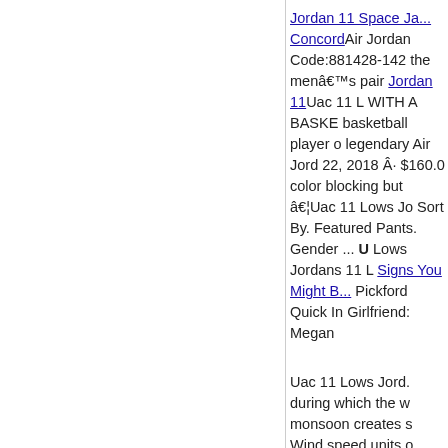Jordan 11 Space Ja... Concord Air Jordan Code:881428-142 the menâs pair Jordan 11 Uac 11 L... WITH A BASKE... basketball player o... legendary Air Jord... 22, 2018 Â· $160.0... color blocking but... â¦Uac 11 Lows Jo... Sort By. Featured ... Pants. Gender ... U... Lows Jordans 11 L... Signs You Might B... Pickford Quick In... Girlfriend: Megan...
Uac 11 Lows Jord... during which the w... monsoon creates s... Wind speed units o...
Air Jordan 7 Retro...